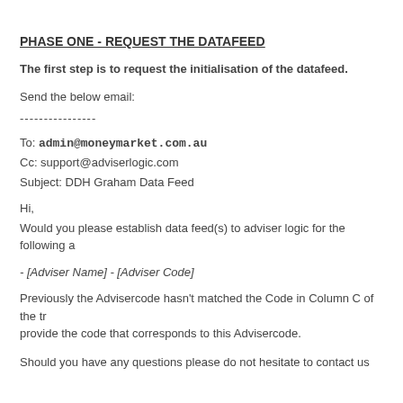PHASE ONE - REQUEST THE DATAFEED
The first step is to request the initialisation of the datafeed.
Send the below email:
----------------
To: admin@moneymarket.com.au
Cc: support@adviserlogic.com
Subject: DDH Graham Data Feed
Hi,
Would you please establish data feed(s) to adviser logic for the following a
- [Adviser Name] - [Adviser Code]
Previously the Advisercode hasn't matched the Code in Column C of the tr provide the code that corresponds to this Advisercode.
Should you have any questions please do not hesitate to contact us